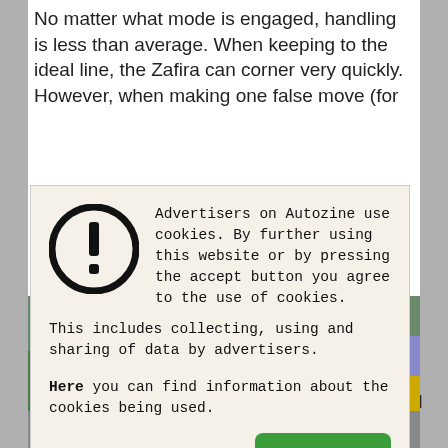No matter what mode is engaged, handling is less than average. When keeping to the ideal line, the Zafira can corner very quickly. However, when making one false move (for e... g... t... f... d... c... ('"... b...
[Figure (screenshot): Cookie consent dialog box with warning icon (exclamation mark in circle), text about Autozine advertisers using cookies, and a green Accept button.]
[Figure (photo): Rear view of a white Opel Zafira minivan with both rear doors/tailgate open, parked on a street.]